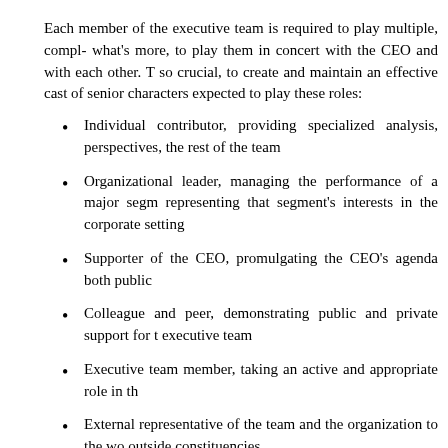Each member of the executive team is required to play multiple, compl- what's more, to play them in concert with the CEO and with each other. T so crucial, to create and maintain an effective cast of senior characters expected to play these roles:
Individual contributor, providing specialized analysis, perspectives, the rest of the team
Organizational leader, managing the performance of a major segm representing that segment's interests in the corporate setting
Supporter of the CEO, promulgating the CEO's agenda both public
Colleague and peer, demonstrating public and private support for t executive team
Executive team member, taking an active and appropriate role in th
External representative of the team and the organization to the wo outside constituencies
Potential successor to the CEO or a potential member of the next leadership
With each team member playing so many vital roles, just one ineffecti member can undermine the team and damage the organization consequences can range from an impotent executive team to the break to the alienation of essential customers. Within the organization, the pe